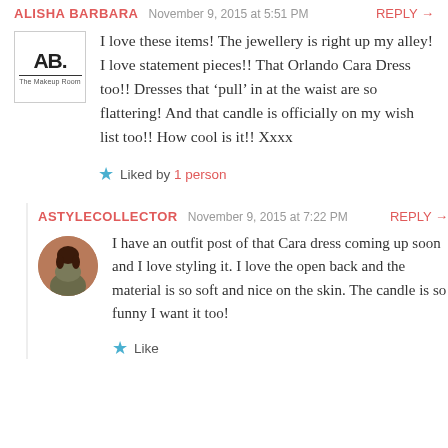ALISHA BARBARA  November 9, 2015 at 5:51 PM  REPLY →
I love these items! The jewellery is right up my alley! I love statement pieces!! That Orlando Cara Dress too!! Dresses that 'pull' in at the waist are so flattering! And that candle is officially on my wish list too!! How cool is it!! Xxxx
★ Liked by 1 person
ASTYLECOLLECTOR  November 9, 2015 at 7:22 PM  REPLY →
I have an outfit post of that Cara dress coming up soon and I love styling it. I love the open back and the material is so soft and nice on the skin. The candle is so funny I want it too!
★ Like